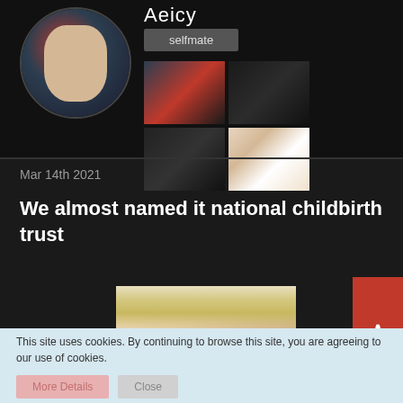[Figure (screenshot): Social media profile header with avatar (circular photo of dark-haired person), username 'Aeicy', badge 'selfmate', and a 2x2 grid of thumbnail images on dark background]
Mar 14th 2021
We almost named it national childbirth trust
[Figure (photo): Photo of person with light/blonde hair, partial face visible, on light background, with red navigation arrows panel on the right]
This site uses cookies. By continuing to browse this site, you are agreeing to our use of cookies.
More Details   Close